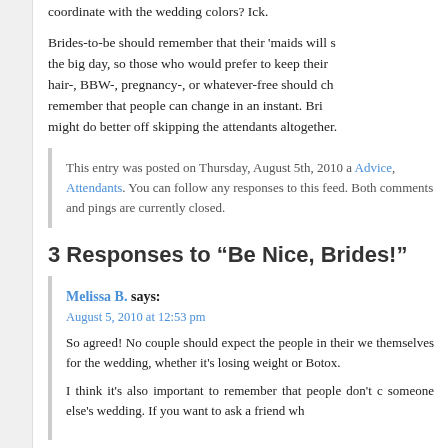coordinate with the wedding colors? Ick.

Brides-to-be should remember that their 'maids will s the big day, so those who would prefer to keep their hair-, BBW-, pregnancy-, or whatever-free should ch remember that people can change in an instant. Bri might do better off skipping the attendants altogether.
This entry was posted on Thursday, August 5th, 2010 a Advice, Attendants. You can follow any responses to this feed. Both comments and pings are currently closed.
3 Responses to “Be Nice, Brides!”
Melissa B. says:
August 5, 2010 at 12:53 pm

So agreed! No couple should expect the people in their we themselves for the wedding, whether it's losing weight or Botox.

I think it's also important to remember that people don't c someone else's wedding. If you want to ask a friend wh